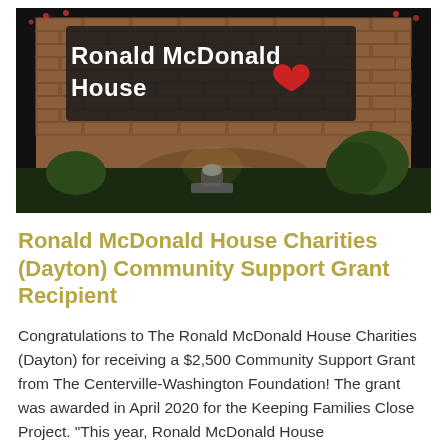[Figure (photo): Nighttime photo of Ronald McDonald House brick sign with white text and red heart, illuminated by spotlights, with shrubs and decorative lights in background.]
Ronald McDonald House Charities (Dayton) Community Support Grant Recipient
Congratulations to The Ronald McDonald House Charities (Dayton) for receiving a $2,500 Community Support Grant from The Centerville-Washington Foundation! The grant was awarded in April 2020 for the Keeping Families Close Project. "This year, Ronald McDonald House